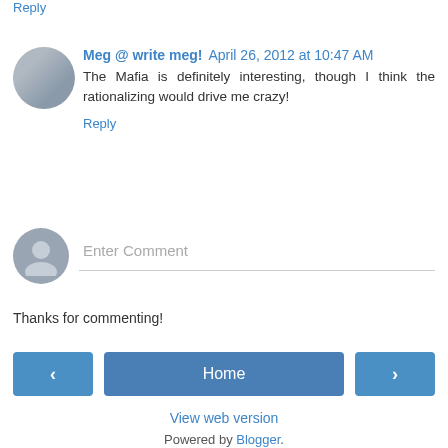Reply
Meg @ write meg!  April 26, 2012 at 10:47 AM
The Mafia is definitely interesting, though I think the rationalizing would drive me crazy!
Reply
Enter Comment
Thanks for commenting!
Home
View web version
Powered by Blogger.